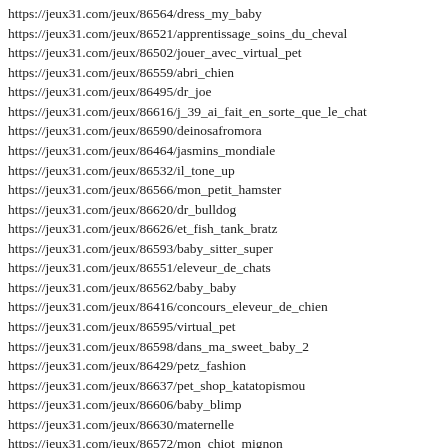https://jeux31.com/jeux/86564/dress_my_baby
https://jeux31.com/jeux/86521/apprentissage_soins_du_cheval
https://jeux31.com/jeux/86502/jouer_avec_virtual_pet
https://jeux31.com/jeux/86559/abri_chien
https://jeux31.com/jeux/86495/dr_joe
https://jeux31.com/jeux/86616/j_39_ai_fait_en_sorte_que_le_chat
https://jeux31.com/jeux/86590/deinosafromora
https://jeux31.com/jeux/86464/jasmins_mondiale
https://jeux31.com/jeux/86532/il_tone_up
https://jeux31.com/jeux/86566/mon_petit_hamster
https://jeux31.com/jeux/86620/dr_bulldog
https://jeux31.com/jeux/86626/et_fish_tank_bratz
https://jeux31.com/jeux/86593/baby_sitter_super
https://jeux31.com/jeux/86551/eleveur_de_chats
https://jeux31.com/jeux/86562/baby_baby
https://jeux31.com/jeux/86416/concours_eleveur_de_chien
https://jeux31.com/jeux/86595/virtual_pet
https://jeux31.com/jeux/86598/dans_ma_sweet_baby_2
https://jeux31.com/jeux/86429/petz_fashion
https://jeux31.com/jeux/86637/pet_shop_katatopismou
https://jeux31.com/jeux/86606/baby_blimp
https://jeux31.com/jeux/86630/maternelle
https://jeux31.com/jeux/86572/mon_chiot_mignon
https://jeux31.com/jeux/86480/wheres_mon_doudou_2
https://jeux31.com/jeux/86524/wheres_mon_doudou
https://jeux31.com/jeux/169675/...